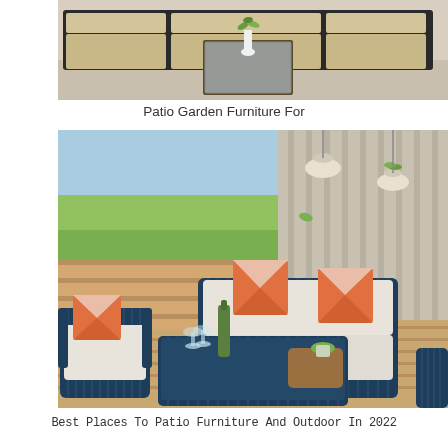[Figure (photo): Top portion of a black wicker/rattan L-shaped sectional patio sofa set with beige cushions and a glass-top coffee table with a white vase and plant on it, shown from above at an angle.]
Patio Garden Furniture For
[Figure (photo): Outdoor patio furniture set featuring navy/dark blue rope-woven chairs and loveseat with white cushions and orange/white geometric throw pillows, surrounding a navy rope coffee table with a wine bottle and glasses, set on a wooden deck with a natural wood bench and green landscaped backyard in background.]
Best Places To Patio Furniture And Outdoor In 2022